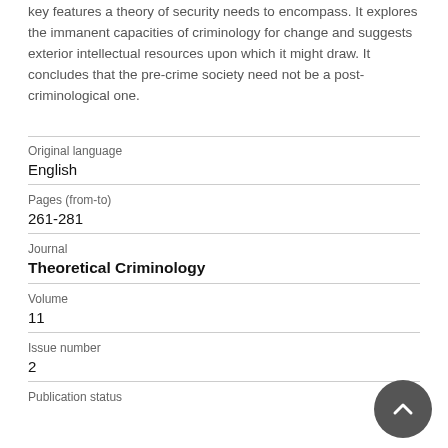key features a theory of security needs to encompass. It explores the immanent capacities of criminology for change and suggests exterior intellectual resources upon which it might draw. It concludes that the pre-crime society need not be a post-criminological one.
| Original language | English |
| Pages (from-to) | 261-281 |
| Journal | Theoretical Criminology |
| Volume | 11 |
| Issue number | 2 |
| Publication status |  |